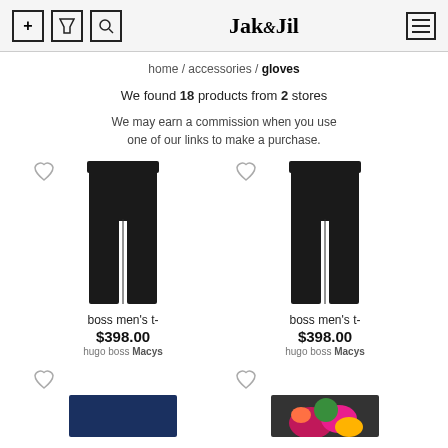Jak&Jil
home / accessories / gloves
We found 18 products from 2 stores
We may earn a commission when you use one of our links to make a purchase.
[Figure (photo): Black dress pants product image, left]
boss men's t-
$398.00
hugo boss Macys
[Figure (photo): Black dress pants product image, right]
boss men's t-
$398.00
hugo boss Macys
[Figure (photo): Dark navy pants partial image, bottom left]
[Figure (photo): Colorful product image, bottom right]